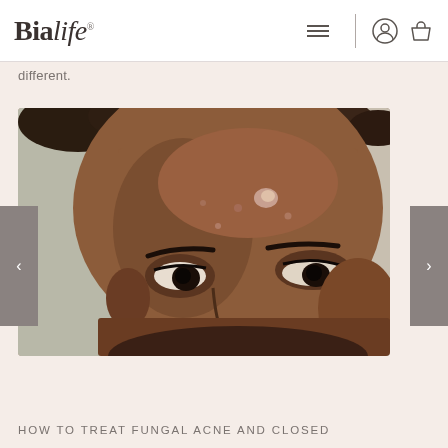Bialife — navigation bar with hamburger menu, user icon, and basket icon
different.
[Figure (photo): Close-up portrait photograph of a young Black man with dreadlocks, showing acne and skin texture on forehead and face, with eyes looking slightly downward]
HOW TO TREAT FUNGAL ACNE AND CLOSED